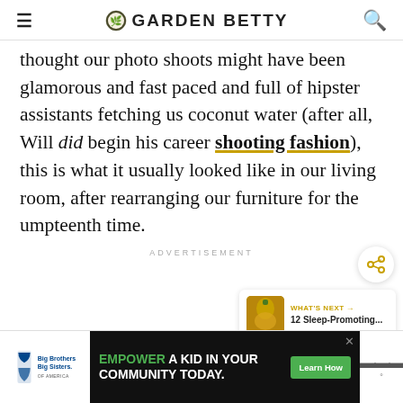GARDEN BETTY
thought our photo shoots might have been glamorous and fast paced and full of hipster assistants fetching us coconut water (after all, Will did begin his career shooting fashion), this is what it usually looked like in our living room, after rearranging our furniture for the umpteenth time.
ADVERTISEMENT
[Figure (screenshot): Share button (circular white button with share icon)]
[Figure (screenshot): What's Next card showing pineapple thumbnail and text '12 Sleep-Promoting...']
[Figure (screenshot): Bottom advertisement banner: Big Brothers Big Sisters logo, 'EMPOWER A KID IN YOUR COMMUNITY TODAY.' ad with Learn How button, weather widget]